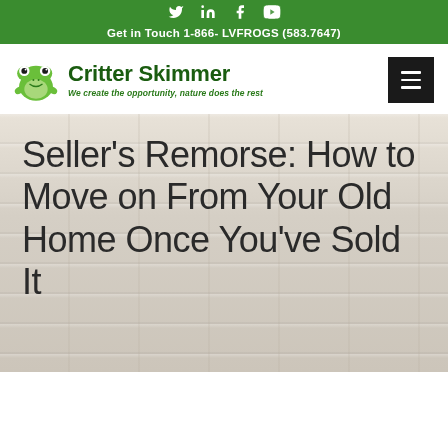Social icons: Twitter, LinkedIn, Facebook, YouTube
Get in Touch 1-866- LVFROGS (583.7647)
[Figure (logo): Critter Skimmer logo with green frog icon and text 'We create the opportunity, nature does the rest']
Seller's Remorse: How to Move on From Your Old Home Once You've Sold It